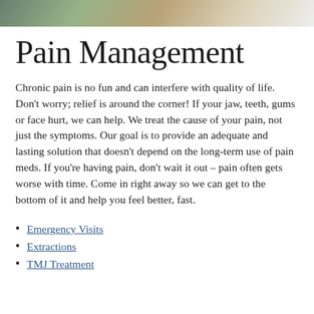[Figure (photo): Partial photo header image at top of page, showing muted tones of what appears to be a person or dental scene]
Pain Management
Chronic pain is no fun and can interfere with quality of life. Don't worry; relief is around the corner! If your jaw, teeth, gums or face hurt, we can help. We treat the cause of your pain, not just the symptoms. Our goal is to provide an adequate and lasting solution that doesn't depend on the long-term use of pain meds. If you're having pain, don't wait it out – pain often gets worse with time. Come in right away so we can get to the bottom of it and help you feel better, fast.
Emergency Visits
Extractions
TMJ Treatment